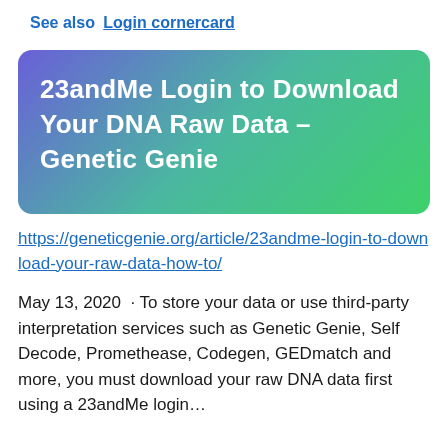See also  Login cornercard
[Figure (other): Banner with gradient background (purple to green) containing bold white text: 23andMe Login to Download Your DNA Raw Data – Genetic Genie]
https://geneticgenie.org/article/23andme-login-to-download-your-raw-data-how-to/
May 13, 2020  · To store your data or use third-party interpretation services such as Genetic Genie, Self Decode, Promethease, Codegen, GEDmatch and more, you must download your raw DNA data first using a 23andMe login…